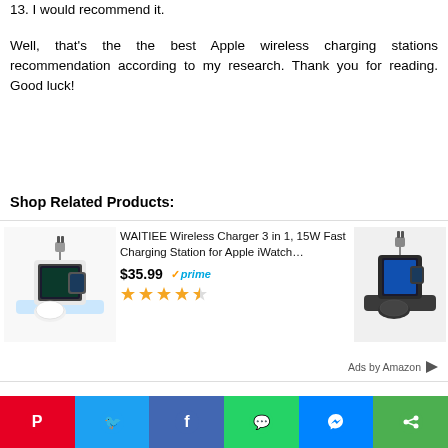13. I would recommend it.
Well, that's the the best Apple wireless charging stations recommendation according to my research. Thank you for reading. Good luck!
Shop Related Products:
[Figure (other): Amazon ad showing WAITIEE Wireless Charger 3 in 1 product with image, price $35.99, Prime badge, and star rating]
[Figure (other): Social media share bar with Pinterest, Twitter, Facebook, WhatsApp, Messenger, and Share buttons]